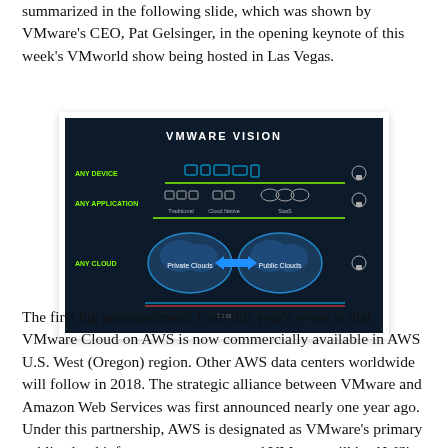summarized in the following slide, which was shown by VMware's CEO, Pat Gelsinger, in the opening keynote of this week's VMworld show being hosted in Las Vegas.
[Figure (schematic): VMware Vision diagram showing Any Device, Any Application (Traditional, Cloud Native, SaaS), and Any Cloud (Private Clouds, Public Clouds) layers on a dark background.]
The first big announcement from this year's event is that VMware Cloud on AWS is now commercially available in AWS U.S. West (Oregon) region. Other AWS data centers worldwide will follow in 2018. The strategic alliance between VMware and Amazon Web Services was first announced nearly one year ago. Under this partnership, AWS is designated as VMware's primary public cloud infrastructure partner; and VMware will be AWS's primary private cloud